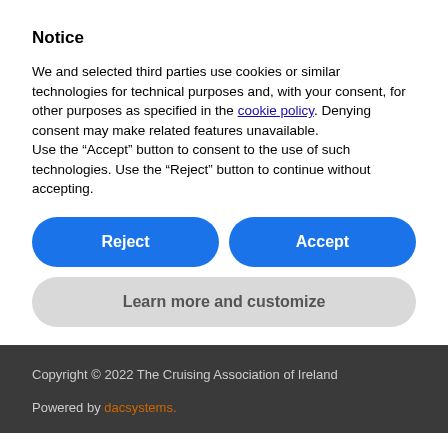Notice
We and selected third parties use cookies or similar technologies for technical purposes and, with your consent, for other purposes as specified in the cookie policy. Denying consent may make related features unavailable.
Use the “Accept” button to consent to the use of such technologies. Use the “Reject” button to continue without accepting.
Reject
Accept
Learn more and customize
Copyright © 2022 The Cruising Association of Ireland
Powered by dacsystems.